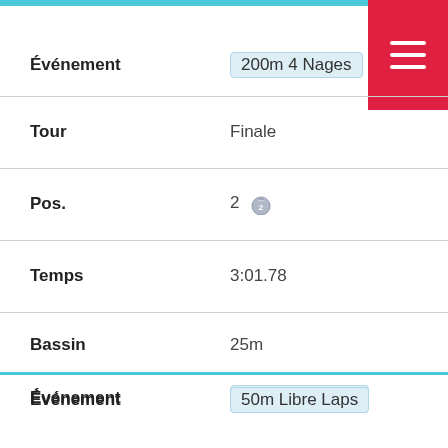| Field | Value |
| --- | --- |
| Événement | 200m 4 Nages |
| Tour | Finale |
| Pos. | 2 🥈 |
| Temps | 3:01.78 |
| Bassin | 25m |
| Field | Value |
| --- | --- |
| Événement | 50m Libre Laps |
| Tour | 4 × 50m Libre, Finale |
| Pos. | Relais |
| Temps | 30.51 |